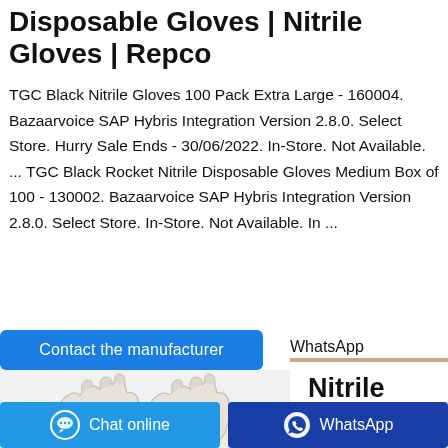Disposable Gloves | Nitrile Gloves | Repco
TGC Black Nitrile Gloves 100 Pack Extra Large - 160004. Bazaarvoice SAP Hybris Integration Version 2.8.0. Select Store. Hurry Sale Ends - 30/06/2022. In-Store. Not Available. ... TGC Black Rocket Nitrile Disposable Gloves Medium Box of 100 - 130002. Bazaarvoice SAP Hybris Integration Version 2.8.0. Select Store. In-Store. Not Available. In ...
[Figure (other): Blue button labeled 'Contact the manufacturer']
WhatsApp
[Figure (photo): Photo of white nitrile gloves being worn, on light gray background]
Nitrile Gloves –
[Figure (other): Light blue 'Chat online' button with chat bubble icon]
[Figure (other): Dark blue 'WhatsApp' button with WhatsApp logo icon]